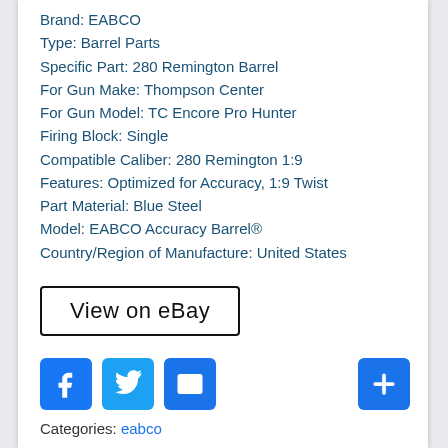Brand: EABCO
Type: Barrel Parts
Specific Part: 280 Remington Barrel
For Gun Make: Thompson Center
For Gun Model: TC Encore Pro Hunter
Firing Block: Single
Compatible Caliber: 280 Remington 1:9
Features: Optimized for Accuracy, 1:9 Twist
Part Material: Blue Steel
Model: EABCO Accuracy Barrel®
Country/Region of Manufacture: United States
[Figure (other): View on eBay button]
[Figure (other): Social media icons: Facebook, Twitter, Email, and a plus/add button]
Categories: eabco